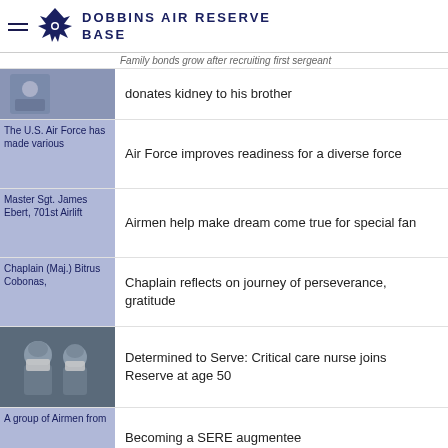DOBBINS AIR RESERVE BASE
Family bonds grow after recruiting first sergeant donates kidney to his brother
Air Force improves readiness for a diverse force
Airmen help make dream come true for special fan
Chaplain reflects on journey of perseverance, gratitude
Determined to Serve: Critical care nurse joins Reserve at age 50
Becoming a SERE augmentee